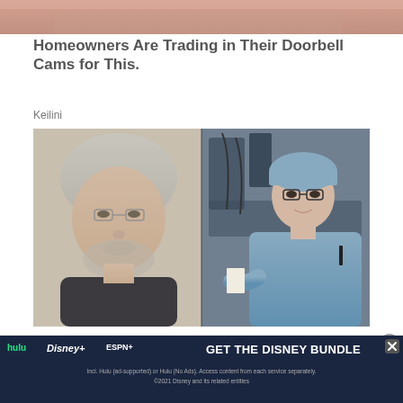[Figure (photo): Partial top strip of an image — appears to be a person's face/shoulders cropped at top of page]
Homeowners Are Trading in Their Doorbell Cams for This.
Keilini
[Figure (photo): Split composite image: left side shows an older man with gray hair and beard wearing a black shirt; right side shows a person in blue medical scrubs and surgical cap standing next to medical equipment in what appears to be an operating room]
[Figure (screenshot): Disney Bundle advertisement banner: Hulu, Disney+, ESPN+ logos with text 'GET THE DISNEY BUNDLE'. Includes small print: 'Incl. Hulu (ad-supported) or Hulu (No Ads). Access content from each service separately. ©2021 Disney and its related entities']
1 F…